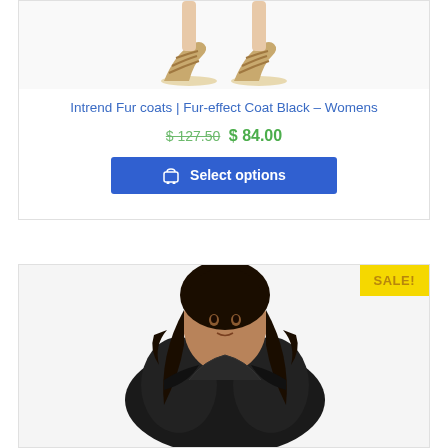[Figure (photo): Close-up of gold strappy sandal heels on a white background, showing lower legs and feet of a model]
Intrend Fur coats | Fur-effect Coat Black – Womens
$ 127.50 $ 84.00
Select options
[Figure (photo): A woman with curly dark hair wearing a black fur-effect short coat, posed against a white background. A yellow SALE! badge is shown in the top right corner of the product card.]